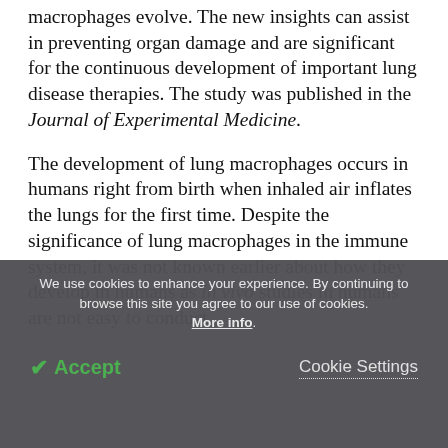macrophages evolve. The new insights can assist in preventing organ damage and are significant for the continuous development of important lung disease therapies. The study was published in the Journal of Experimental Medicine.
The development of lung macrophages occurs in humans right from birth when inhaled air inflates the lungs for the first time. Despite the significance of lung macrophages in the immune system, it was not known earlier about how they develop in humans as in vivo studies in humans are not easy to conduct.
We use cookies to enhance your experience. By continuing to browse this site you agree to our use of cookies. More info.